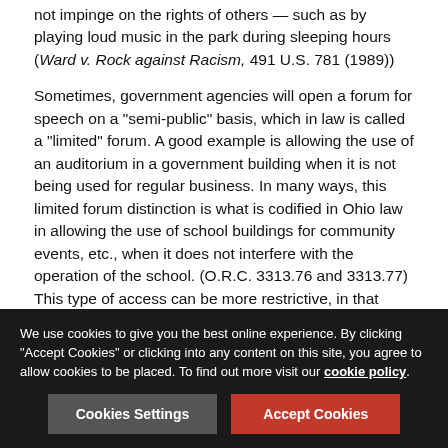not impinge on the rights of others — such as by playing loud music in the park during sleeping hours (Ward v. Rock against Racism, 491 U.S. 781 (1989))
Sometimes, government agencies will open a forum for speech on a "semi-public" basis, which in law is called a "limited" forum. A good example is allowing the use of an auditorium in a government building when it is not being used for regular business. In many ways, this limited forum distinction is what is codified in Ohio law in allowing the use of school buildings for community events, etc., when it does not interfere with the operation of the school. (O.R.C. 3313.76 and 3313.77) This type of access can be more restrictive, in that those in charge of the facilities may make regulations, specify times, require insurance, and other limitation, but the access must still be largely “content neutral”. This is because the government agency knowingly and purposefully opened the
We use cookies to give you the best online experience. By clicking "Accept Cookies" or clicking into any content on this site, you agree to allow cookies to be placed. To find out more visit our cookie policy.